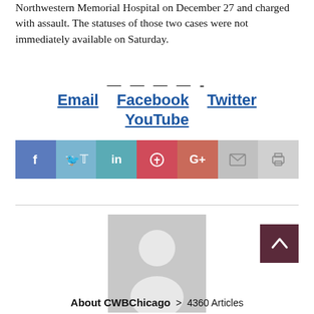Northwestern Memorial Hospital on December 27 and charged with assault. The statuses of those two cases were not immediately available on Saturday.
— — — — -
Email   Facebook   Twitter
YouTube
[Figure (infographic): Social share bar with icons for Facebook, Twitter, LinkedIn, Pinterest, Google+, Email, Print]
[Figure (photo): Generic user/author avatar placeholder image (gray silhouette)]
About CWBChicago > 4360 Articles